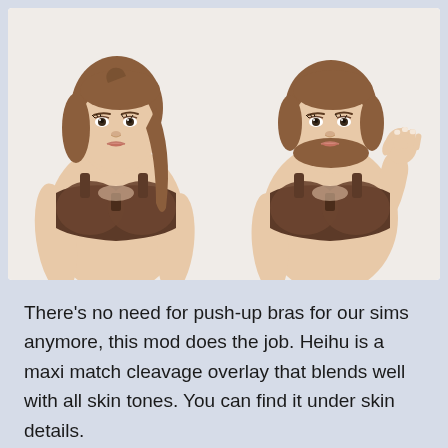[Figure (illustration): Two 3D-rendered female Sims characters side by side wearing brown bras, shown from waist up. Left figure has long brown hair, right figure has shorter brown hair and is raising her right hand.]
There's no need for push-up bras for our sims anymore, this mod does the job. Heihu is a maxi match cleavage overlay that blends well with all skin tones. You can find it under skin details.